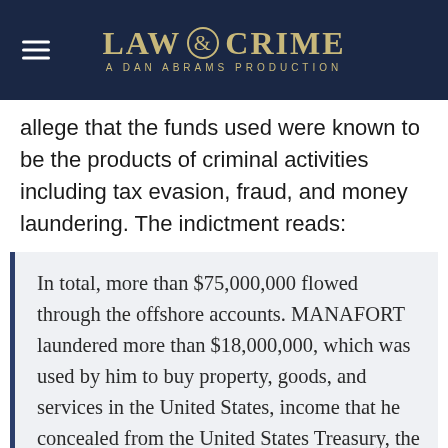LAW & CRIME — A DAN ABRAMS PRODUCTION
allege that the funds used were known to be the products of criminal activities including tax evasion, fraud, and money laundering. The indictment reads:
In total, more than $75,000,000 flowed through the offshore accounts. MANAFORT laundered more than $18,000,000, which was used by him to buy property, goods, and services in the United States, income that he concealed from the United States Treasury, the Department of Justice, and others. GATES